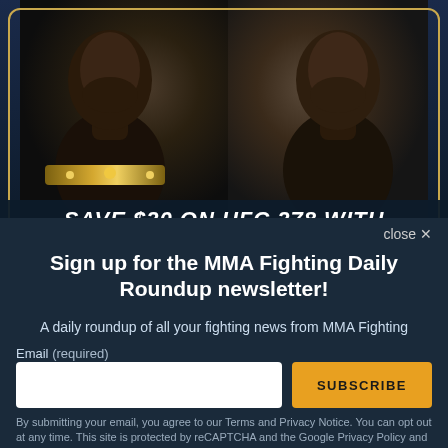[Figure (photo): Two UFC fighters facing each other in a promotional image for UFC 278. The fighter on the left wears a championship belt. Dark navy background with a golden border frame and chevron pattern in the center.]
SAVE $20 ON UFC 278 WITH
close X
Sign up for the MMA Fighting Daily Roundup newsletter!
A daily roundup of all your fighting news from MMA Fighting
Email (required)
SUBSCRIBE
By submitting your email, you agree to our Terms and Privacy Notice. You can opt out at any time. This site is protected by reCAPTCHA and the Google Privacy Policy and Terms of Service apply.